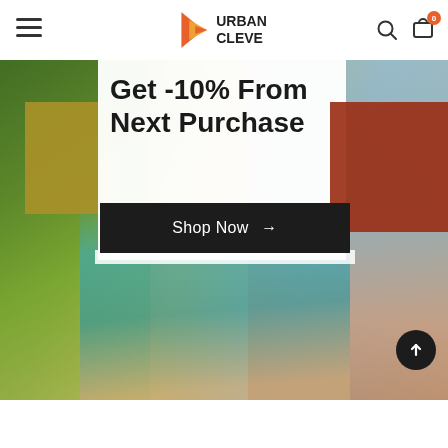[Figure (screenshot): Urban Cleve e-commerce website header with navigation bar featuring hamburger menu on left, Urban Cleve logo in center with orange arrow icon, and search + cart icons on right. Below is a hero banner showing a tropical fashion promotion with text 'Get -10% From Next Purchase' and a 'Shop Now' button over a fashion photo with colorful geometric overlays in olive, white, and rust colors.]
Get -10% From Next Purchase
Shop Now →